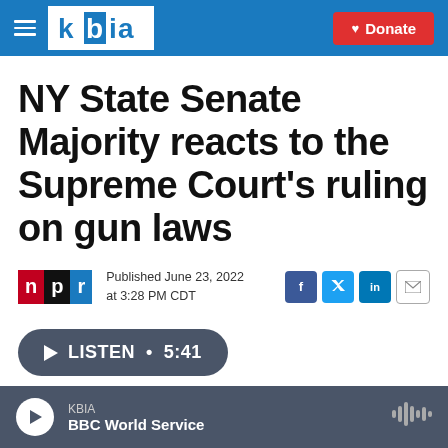[Figure (logo): KBIA radio station website header with hamburger menu, KBIA logo in white box on blue background, and red Donate button]
NY State Senate Majority reacts to the Supreme Court's ruling on gun laws
NPR | Published June 23, 2022 at 3:28 PM CDT
[Figure (other): Listen audio player button showing LISTEN • 5:41]
KBIA BBC World Service